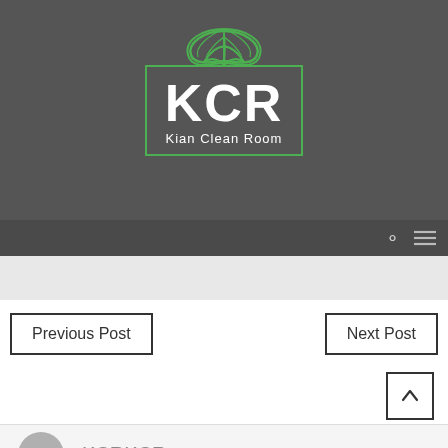[Figure (logo): KCR Kian Clean Room logo with green leaf above green-bordered box containing white KCR text and 'Kian Clean Room' subtitle, on dark gray background]
Previous Post
Next Post
KCRKCR